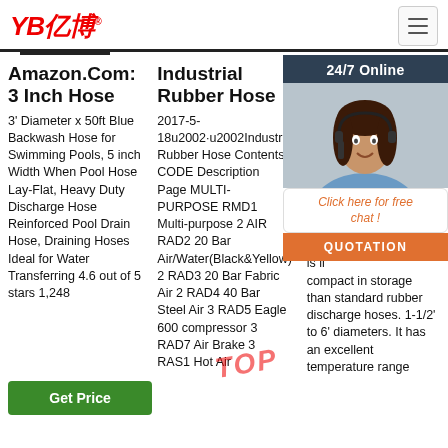YB亿博
Amazon.Com: 3 Inch Hose
Industrial Rubber Hose
Ho Ru Of
3' Diameter x 50ft Blue Backwash Hose for Swimming Pools, 5 inch Width When Pool Hose Lay-Flat, Heavy Duty Discharge Hose Reinforced Pool Drain Hose, Draining Hoses Ideal for Water Transferring 4.6 out of 5 stars 1,248
2017-5-18u2002·u2002Industrial Rubber Hose Contents CODE Description Page MULTI-PURPOSE RMD1 Multi-purpose 2 AIR RAD2 20 Bar Air/Water(Black&Yellow) 2 RAD3 20 Bar Fabric Air 2 RAD4 40 Bar Steel Air 3 RAD5 Eagle 600 compressor 3 RAD7 Air Brake 3 RAS1 Hot Air
RD. LAY DIS HO nitri oil-m disc is li compact in storage than standard rubber discharge hoses. 1-1/2' to 6' diameters. It has an excellent temperature range of 22F to 212F
24/7 Online
Click here for free chat !
QUOTATION
Get Price